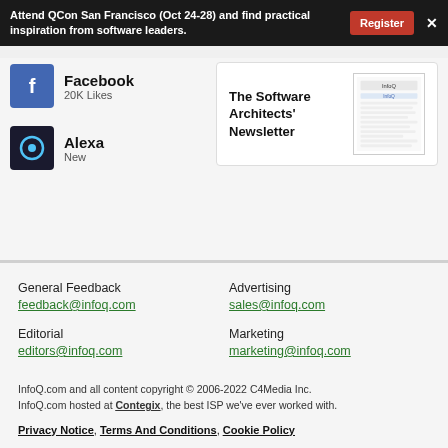Attend QCon San Francisco (Oct 24-28) and find practical inspiration from software leaders. Register ×
Facebook
20K Likes
Alexa
New
[Figure (screenshot): The Software Architects' Newsletter promotional image with InfoQ logo]
General Feedback
feedback@infoq.com
Advertising
sales@infoq.com
Editorial
editors@infoq.com
Marketing
marketing@infoq.com
InfoQ.com and all content copyright © 2006-2022 C4Media Inc. InfoQ.com hosted at Contegix, the best ISP we've ever worked with.
Privacy Notice , Terms And Conditions , Cookie Policy